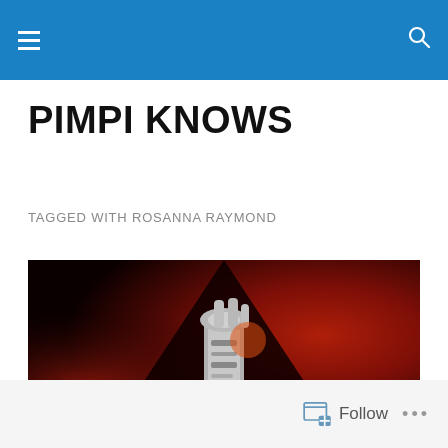Navigation bar with hamburger menu and search icon
PIMPI KNOWS
TAGGED WITH ROSANNA RAYMOND
[Figure (photo): A metallic robotic or mechanical arm/hand holding or reaching upward, photographed from below against a dramatic red and black background with a dark triangular shape pointing downward from the top center.]
Follow ...